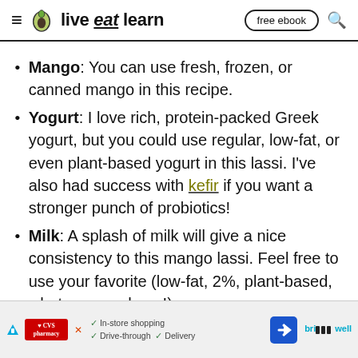live eat learn — free ebook
Mango: You can use fresh, frozen, or canned mango in this recipe.
Yogurt: I love rich, protein-packed Greek yogurt, but you could use regular, low-fat, or even plant-based yogurt in this lassi. I've also had success with kefir if you want a stronger punch of probiotics!
Milk: A splash of milk will give a nice consistency to this mango lassi. Feel free to use your favorite (low-fat, 2%, plant-based, whatever you have!)
[Figure (screenshot): Advertisement banner: CVS Pharmacy logo, arrow icon, checkmarks for In-store shopping, Drive-through, Delivery, navigation arrow icon, BrightWell brand text]